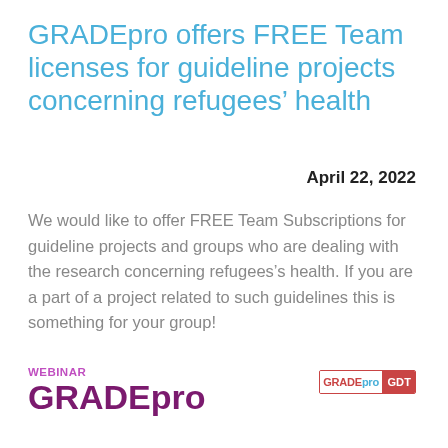GRADEpro offers FREE Team licenses for guideline projects concerning refugees’ health
April 22, 2022
We would like to offer FREE Team Subscriptions for guideline projects and groups who are dealing with the research concerning refugees’s health. If you are a part of a project related to such guidelines this is something for your group!
WEBINAR
GRADEpro